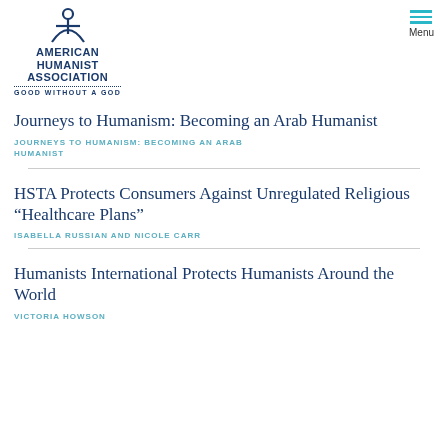AMERICAN HUMANIST ASSOCIATION — GOOD WITHOUT A GOD | Menu
Journeys to Humanism: Becoming an Arab Humanist
JOURNEYS TO HUMANISM: BECOMING AN ARAB HUMANIST
HSTA Protects Consumers Against Unregulated Religious “Healthcare Plans”
ISABELLA RUSSIAN AND NICOLE CARR
Humanists International Protects Humanists Around the World
VICTORIA HOWSON